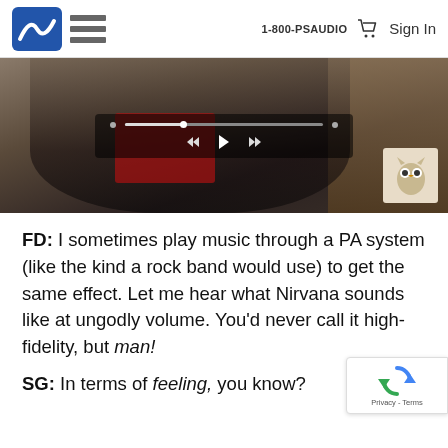1-800-PSAUDIO  Sign In
[Figure (screenshot): A screenshot showing a person wearing a black t-shirt with music/band graphics, seated in front of shelves with audio equipment. A media player control bar is overlaid in the center of the image.]
FD: I sometimes play music through a PA system (like the kind a rock band would use) to get the same effect. Let me hear what Nirvana sounds like at ungodly volume. You'd never call it high-fidelity, but man!
SG: In terms of feeling, you know?